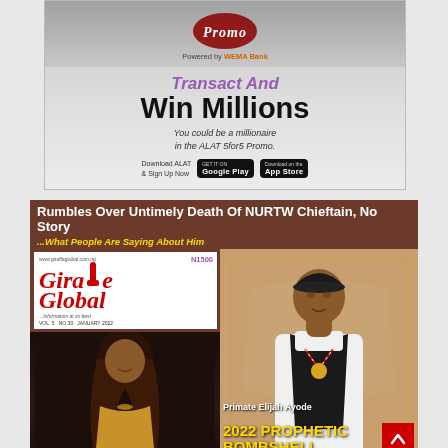[Figure (advertisement): ALAT 5for5 Promo advertisement powered by WEMA Bank. Shows 'Transact And Win Millions' text. Download via Google Play and App Store.]
[Figure (illustration): Giraffe Global magazine cover (Vol. 5 No. 30, January 2022, N1500). Headline: 'Rumbles Over Untimely Death Of NURTW Chieftain, No Story ...What People Are Saying About Him'. Features Giraffe Global logo, a female personality photo, a man in traditional attire (Primate Elijah Ayodele), and '2022 PROPHETIC BOMBSHELL' text in yellow.]